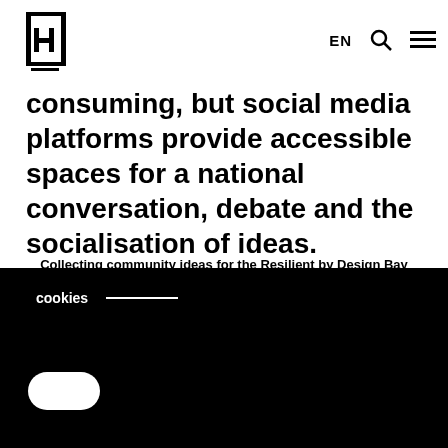H | EN [search icon] [menu icon]
consuming, but social media platforms provide accessible spaces for a national conversation, debate and the socialisation of ideas.
Collecting community ideas for the Resilient by Design Bay Area Challenge in San Francisco
cookies